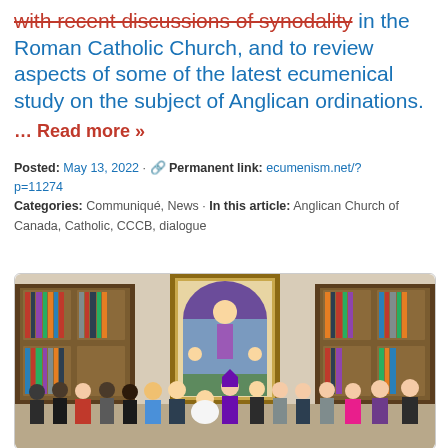with recent discussions of synodality in the Roman Catholic Church, and to review aspects of some of the latest ecumenical study on the subject of Anglican ordinations.
… Read more »
Posted: May 13, 2022 · 🔗 Permanent link: ecumenism.net/?p=11274
Categories: Communiqué, News · In this article: Anglican Church of Canada, Catholic, CCCB, dialogue
[Figure (photo): Group photo of approximately 15 people standing in a formal room with ornate wooden bookshelves and a painting of a religious figure in the center background. The individuals appear to be clergy and lay people, including someone in white papal vestments seated in the center.]